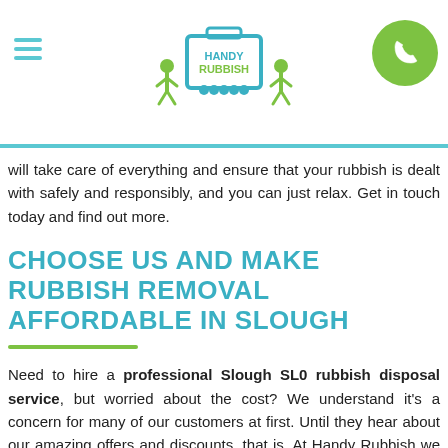Handy Rubbish — navigation header with logo and phone button
will take care of everything and ensure that your rubbish is dealt with safely and responsibly, and you can just relax. Get in touch today and find out more.
CHOOSE US AND MAKE RUBBISH REMOVAL AFFORDABLE IN SLOUGH
Need to hire a professional Slough SL0 rubbish disposal service, but worried about the cost? We understand it's a concern for many of our customers at first. Until they hear about our amazing offers and discounts, that is. At Handy Rubbish we are on a mission to make waste disposal in Slough affordable, and we always have a range of deals and offers available to make it possible. Whether you need to spread the